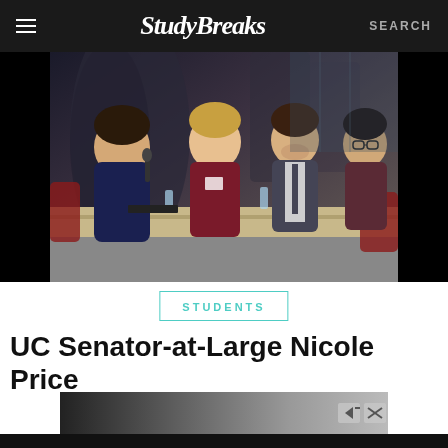Study Breaks  SEARCH
[Figure (photo): Four people seated at a panel table in an indoor event space. A woman on the left holds a microphone and speaks. Three others listen: a woman in a maroon shirt, a man in a suit, and a woman with glasses.]
STUDENTS
UC Senator-at-Large Nicole Price